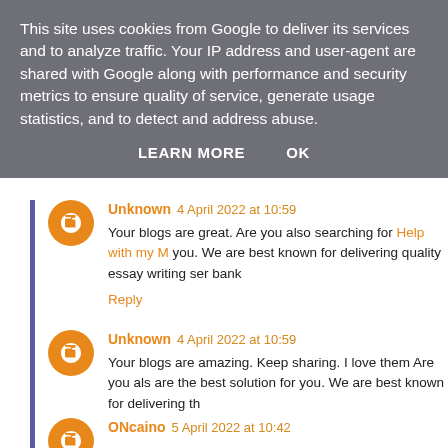This site uses cookies from Google to deliver its services and to analyze traffic. Your IP address and user-agent are shared with Google along with performance and security metrics to ensure quality of service, generate usage statistics, and to detect and address abuse.
LEARN MORE   OK
Unknown 4 April 2022 at 10:59
Your blogs are great. Are you also searching for Help with my M you. We are best known for delivering quality essay writing ser bank
Reply
Unknown 4 April 2022 at 10:59
Your blogs are amazing. Keep sharing. I love them Are you als are the best solution for you. We are best known for delivering th
Reply
ONcaino 5 April 2022 at 10:42